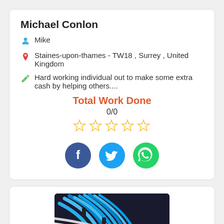Michael Conlon
Mike
Staines-upon-thames - TW18 , Surrey , United Kingdom
Hard working individual out to make some extra cash by helping others....
Total Work Done
0/0
[Figure (infographic): Five empty star rating icons in gold/yellow outline]
[Figure (infographic): Social media buttons: Facebook (dark blue circle with f), Twitter (light blue circle with bird), WhatsApp (green circle with phone icon)]
[Figure (photo): Photo showing blue network cables bundled together in a server or data cabinet]